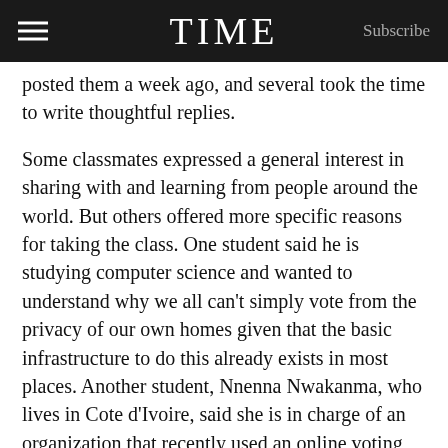TIME | Subscribe
posted them a week ago, and several took the time to write thoughtful replies.

Some classmates expressed a general interest in sharing with and learning from people around the world. But others offered more specific reasons for taking the class. One student said he is studying computer science and wanted to understand why we all can't simply vote from the privacy of our own homes given that the basic infrastructure to do this already exists in most places. Another student, Nnenna Nwakanma, who lives in Cote d'Ivoire, said she is in charge of an organization that recently used an online voting system for its elections. She also works as a consultant on policy, human rights and citizen engagement in developing nations. “Having been critically involved in some democracy and election initiatives, I was not just keen to get a handle on the security aspects of democracy, but also to share and learn from